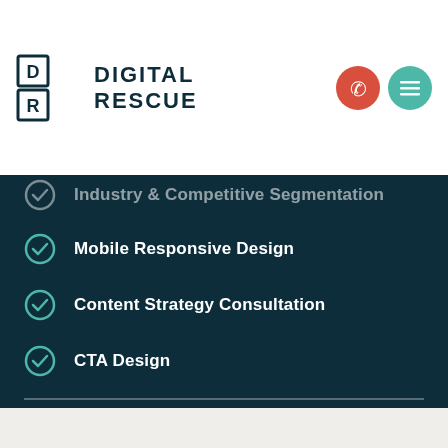[Figure (logo): Digital Rescue logo with DR monogram in bordered squares and bold text DIGITAL RESCUE]
Industry & Competitive Segmentation (partially visible, faded)
Mobile Responsive Design
Content Strategy Consultation
CTA Design
WordPress Training Session